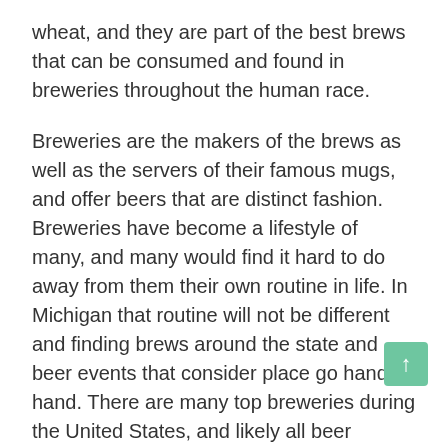wheat, and they are part of the best brews that can be consumed and found in breweries throughout the human race.
Breweries are the makers of the brews as well as the servers of their famous mugs, and offer beers that are distinct fashion. Breweries have become a lifestyle of many, and many would find it hard to do away from them their own routine in life. In Michigan that routine will not be different and finding brews around the state and beer events that consider place go hand to hand. There are many top breweries during the United States, and likely all beer drinkers in Michigan, have found several right in their home state.
Breweries are becoming watering hole, which is hole has tasty beers in the nation. Breweries and bars throughout the uk serve hand crafted brews from different brewery companies. Today, the beer lover of the nation has a more pleasant advantage, as considering the only a population of